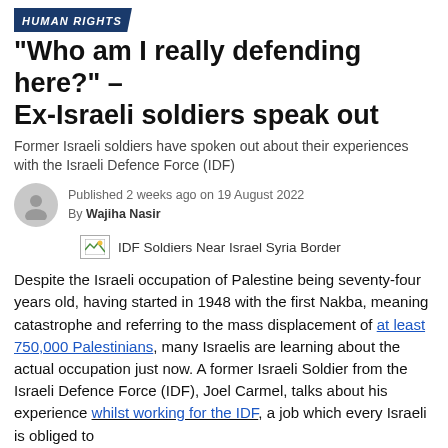HUMAN RIGHTS
"Who am I really defending here?" – Ex-Israeli soldiers speak out
Former Israeli soldiers have spoken out about their experiences with the Israeli Defence Force (IDF)
Published 2 weeks ago on 19 August 2022
By Wajiha Nasir
[Figure (photo): Broken image placeholder with caption: IDF Soldiers Near Israel Syria Border]
Despite the Israeli occupation of Palestine being seventy-four years old, having started in 1948 with the first Nakba, meaning catastrophe and referring to the mass displacement of at least 750,000 Palestinians, many Israelis are learning about the actual occupation just now. A former Israeli Soldier from the Israeli Defence Force (IDF), Joel Carmel, talks about his experience whilst working for the IDF, a job which every Israeli is obliged to